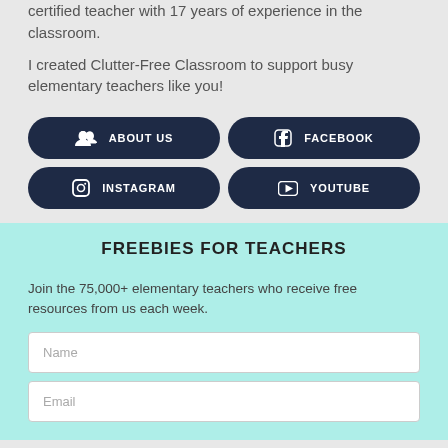certified teacher with 17 years of experience in the classroom.

I created Clutter-Free Classroom to support busy elementary teachers like you!
ABOUT US
FACEBOOK
INSTAGRAM
YOUTUBE
FREEBIES FOR TEACHERS
Join the 75,000+ elementary teachers who receive free resources from us each week.
Name
Email